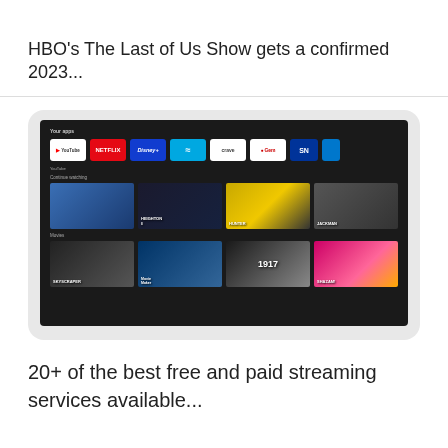HBO's The Last of Us Show gets a confirmed 2023...
[Figure (screenshot): A smart TV interface showing streaming app icons (YouTube, Netflix, Disney+, Amazon, Crave, Gem, SN) and content tiles for Continue Watching and Movies categories including titles like Ocean, Heighton, Hunter, Jackman, Skyscraper, 1917, and Shazam!]
20+ of the best free and paid streaming services available...